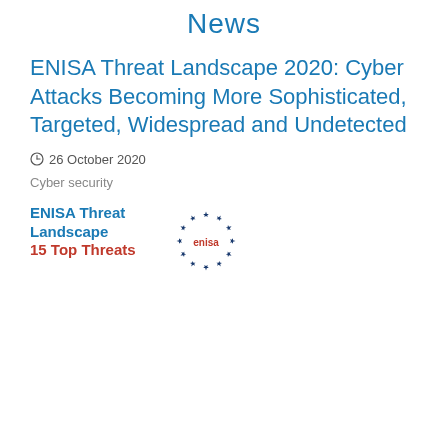News
ENISA Threat Landscape 2020: Cyber Attacks Becoming More Sophisticated, Targeted, Widespread and Undetected
26 October 2020
Cyber security
[Figure (illustration): ENISA Threat Landscape 15 Top Threats card with ENISA logo (stars circle with 'enisa' text in red)]